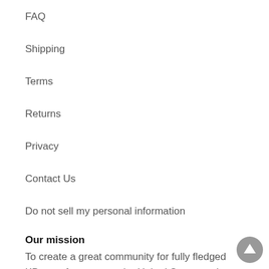FAQ
Shipping
Terms
Returns
Privacy
Contact Us
Do not sell my personal information
Our mission
To create a great community for fully fledged KDrama fans across the United States and Australia.
[Figure (illustration): Gray circular scroll-to-top button with upward arrow icon]